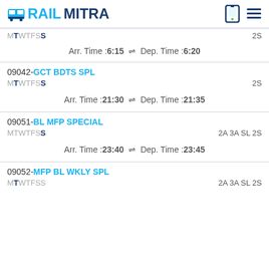RAILMITRA
MTWTFSS  Arr. Time :6:15  Dep. Time :6:20  2S
09042-GCT BDTS SPL  MTWTFSS  2S  Arr. Time :21:30  Dep. Time :21:35
09051-BL MFP SPECIAL  MTWTFSS  2A 3A SL 2S  Arr. Time :23:40  Dep. Time :23:45
09052-MFP BL WKLY SPL  MTWTFSS  2A 3A SL 2S